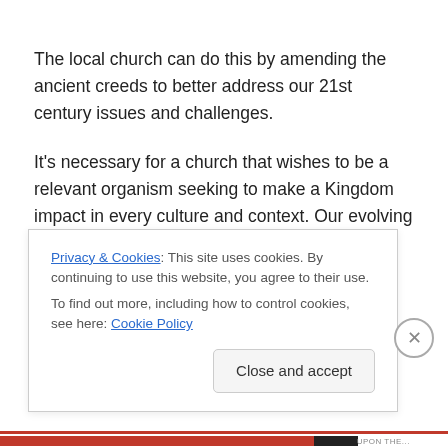The local church can do this by amending the ancient creeds to better address our 21st century issues and challenges.
It's necessary for a church that wishes to be a relevant organism seeking to make a Kingdom impact in every culture and context. Our evolving world demands it. We must not be afraid to speak to, for, and against issues of
Privacy & Cookies: This site uses cookies. By continuing to use this website, you agree to their use.
To find out more, including how to control cookies, see here: Cookie Policy